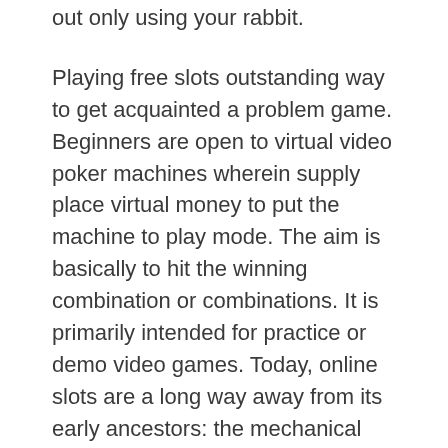out only using your rabbit.
Playing free slots outstanding way to get acquainted a problem game. Beginners are open to virtual video poker machines wherein supply place virtual money to put the machine to play mode. The aim is basically to hit the winning combination or combinations. It is primarily intended for practice or demo video games. Today, online slots are a long way away from its early ancestors: the mechanical slot exercise equipment. Whereas the mechanism of the slots determines merely of online game in the past, at this point online slots are run by a plan called the random number generator. Free virtual superslot slot online casino operate these types of programs also.
When playing online slot machine games you would be wise to try to bet all the coins. The reason being many machines give an additional benefit for playing the